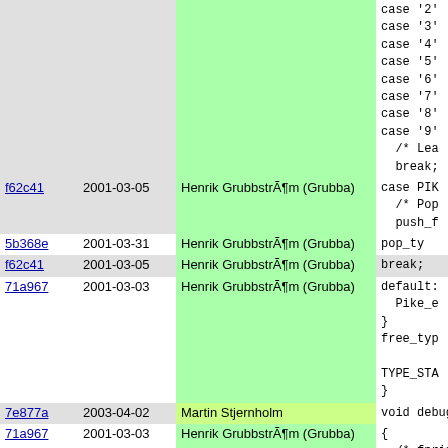| hash | date | author | code |
| --- | --- | --- | --- |
|  |  |  | case '2'
case '3'
case '4'
case '5'
case '6'
case '7'
case '8'
case '9'
  /* Lea
  break; |
| f62c41 | 2001-03-05 | Henrik GrubbstrÃ¶m (Grubba) | case PIK
  /* Pop
  push_f |
| 5b368e | 2001-03-31 | Henrik GrubbstrÃ¶m (Grubba) | pop_ty |
| f62c41 | 2001-03-05 | Henrik GrubbstrÃ¶m (Grubba) | break; |
| 71a967 | 2001-03-03 | Henrik GrubbstrÃ¶m (Grubba) | default:
  Pike_e
}
free_typ

TYPE_STA
} |
| 7e877a | 2003-04-02 | Martin Stjernholm | void debug |
| 71a967 | 2001-03-03 | Henrik GrubbstrÃ¶m (Grubba) | {
  /* fprin |